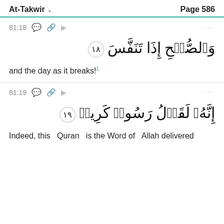At-Takwir   Page 586
81:18
وَٱلصُّبۡحِ إِذَا تَنَفَّسَ ١٨
and the day as it breaks!¹
81:19
إِنَّهُۥ لَقَوۡلُ رَسُولٖ كَرِيمٖ ١٩
Indeed, this Quran is the Word of Allah delivered